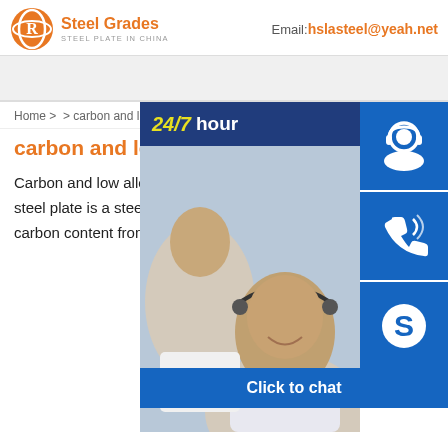[Figure (logo): Steel Grades logo with orange flame/globe icon, text 'Steel Grades' in orange and 'STEEL PLATE IN CHINA' in gray below]
Email:hslasteel@yeah.net
[Figure (photo): Gray banner/search bar area]
Home >  > carbon and low alloy steel p
carbon and low alloy s
Carbon and low alloy steel plate is a steel with carbon content from
[Figure (photo): Industrial steel construction photo showing steel beams and plates]
[Figure (photo): Call center workers with headsets, woman smiling in foreground, with '24/7 hour' overlay bar and blue icon buttons for support, phone/Skype, and 'Click to chat' bar]